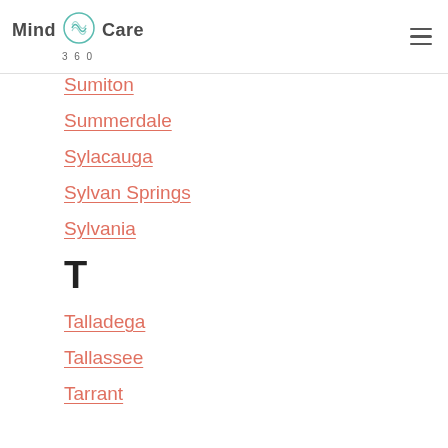Mind Care 360
Sumiton
Summerdale
Sylacauga
Sylvan Springs
Sylvania
T
Talladega
Tallassee
Tarrant